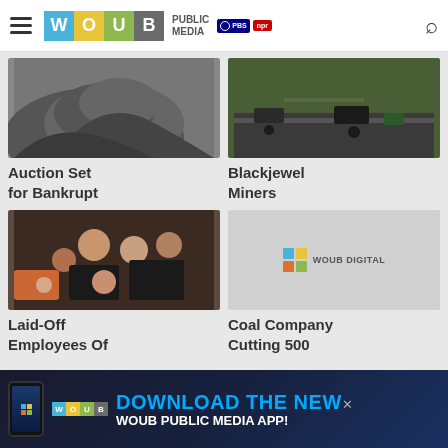WOUB Public Media — PBS NPR
[Figure (photo): Coal pile / dark rock mound]
Auction Set for Bankrupt
[Figure (photo): Aerial view of road and vehicles]
Blackjewel Miners
[Figure (photo): Group of people sitting together, crowd scene]
Laid-Off Employees Of
[Figure (logo): WOUB Digital logo on light gray background]
Coal Company Cutting 500
[Figure (infographic): Download the new WOUB Public Media App banner advertisement]